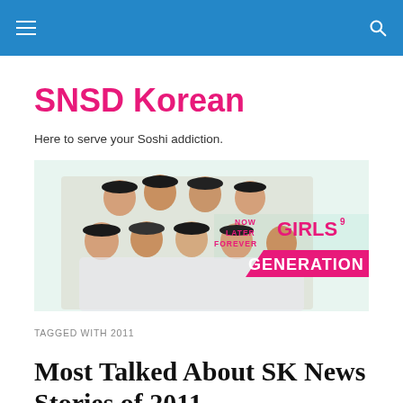SNSD Korean
Here to serve your Soshi addiction.
[Figure (photo): Girls Generation (SNSD) group photo with nine female K-pop artists wearing sailor/military style hats and outfits, alongside the text 'NOW LATER FOREVER GIRLS9 GENERATION' in pink stylized lettering on a light background.]
TAGGED WITH 2011
Most Talked About SK News Stories of 2011